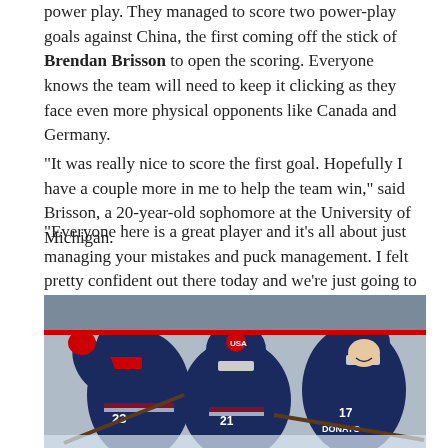power play. They managed to score two power-play goals against China, the first coming off the stick of Brendan Brisson to open the scoring. Everyone knows the team will need to keep it clicking as they face even more physical opponents like Canada and Germany.
"It was really nice to score the first goal. Hopefully I have a couple more in me to help the team win," said Brisson, a 20-year-old sophomore at the University of Michigan.
"Everyone here is a great player and it's all about just managing your mistakes and puck management. I felt pretty confident out there today and we're just going to keep the same mojo going."
[Figure (photo): USA hockey players in dark navy jerseys celebrating on ice. Player #23 visible on left, player #17 (DONATO) on right, another player in center (#21). They are embracing/celebrating, with hockey sticks and equipment visible. Ice rink boards in background.]